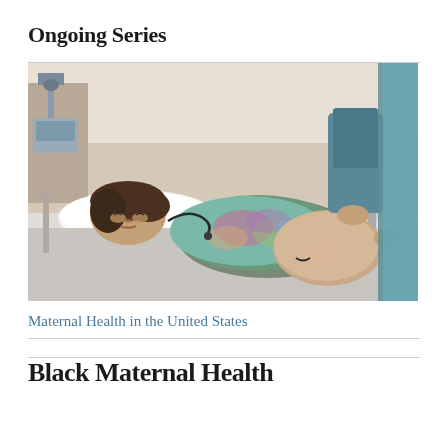Ongoing Series
[Figure (photo): A pregnant woman lying in a hospital bed being examined by medical professionals in scrubs]
Maternal Health in the United States
Black Maternal Health